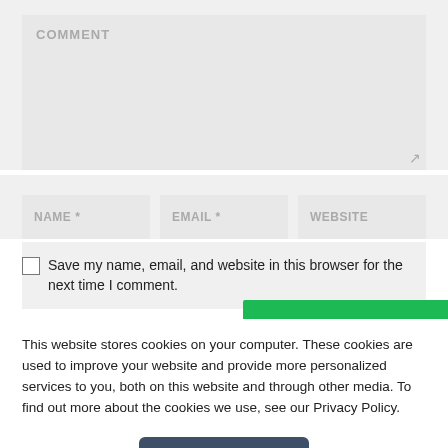[Figure (screenshot): Comment text area input field with placeholder text COMMENT and a resize handle in the bottom right corner, on a light gray background]
[Figure (screenshot): Three input fields in a row: NAME *, EMAIL *, and WEBSITE on a light gray background]
Save my name, email, and website in this browser for the next time I comment.
This website stores cookies on your computer. These cookies are used to improve your website and provide more personalized services to you, both on this website and through other media. To find out more about the cookies we use, see our Privacy Policy.
Accept